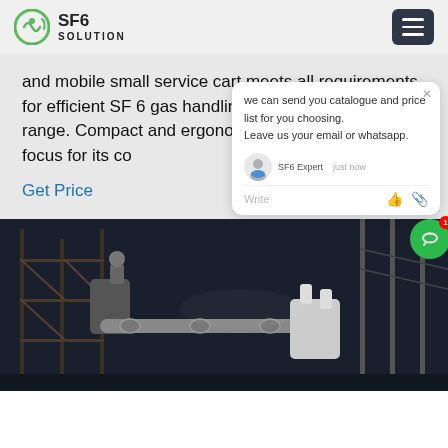SF6 SOLUTION
and mobile small service cart meets all requirements for efficient SF 6 gas handling in the medium voltage range. Compact and ergonomic design was the main focus for its co...
Get Price
[Figure (screenshot): Chat popup widget showing message: 'we can send you catalogue and price list for you choosing. Leave us your email or whatsapp.' with SF6 Expert label, 'just now' timestamp, and write/emoji icons.]
[Figure (photo): Industrial electrical substation photo at night showing SF6 gas insulated equipment, metal scaffolding, pipes and insulators in dark setting.]